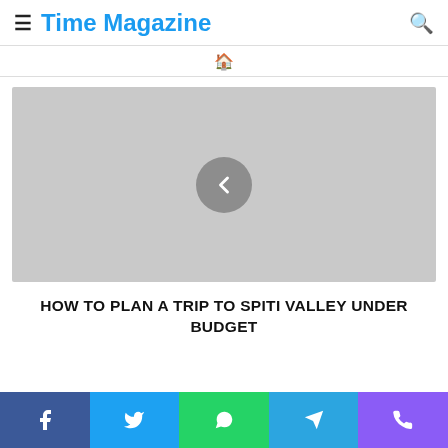≡ Time Magazine 🔍
[Figure (screenshot): Grey placeholder image with left navigation arrow (chevron) button in the center]
HOW TO PLAN A TRIP TO SPITI VALLEY UNDER BUDGET
[Figure (infographic): Social sharing bar with Facebook, Twitter, WhatsApp, Telegram, and Phone icons]